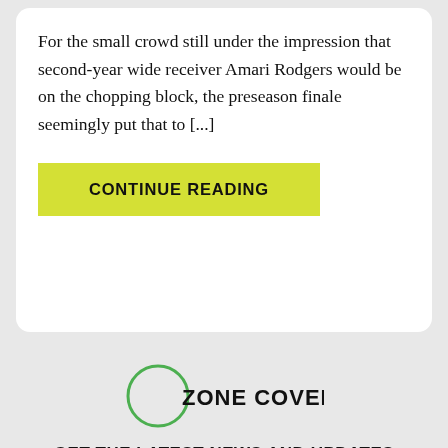For the small crowd still under the impression that second-year wide receiver Amari Rodgers would be on the chopping block, the preseason finale seemingly put that to [...]
CONTINUE READING
[Figure (logo): Zone Coverage logo — bold black text 'ZONE COVERAGE' with a green circle outline on the left side]
GET THE LATEST NEWS AND UPDATES
Email Address  SUBMIT
[Figure (illustration): Row of five social media icons (Twitter, Facebook, YouTube, Instagram, RSS) in gray]